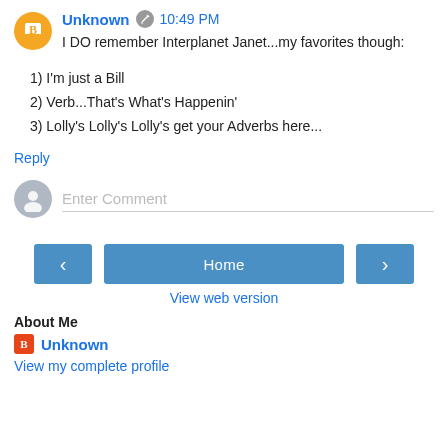Unknown  10:49 PM
I DO remember Interplanet Janet...my favorites though:
1) I'm just a Bill
2) Verb...That's What's Happenin'
3) Lolly's Lolly's Lolly's get your Adverbs here...
Reply
Enter Comment
Home
View web version
About Me
Unknown
View my complete profile